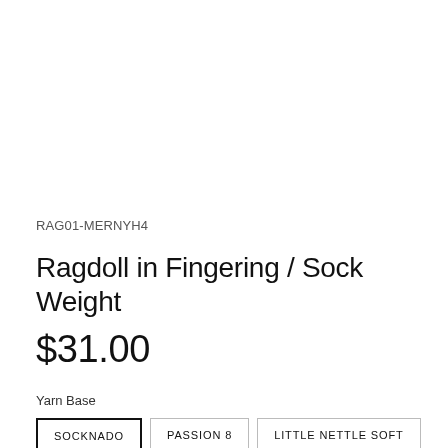RAG01-MERNYH4
Ragdoll in Fingering / Sock Weight
$31.00
Yarn Base
SOCKNADO
PASSION 8
LITTLE NETTLE SOFT